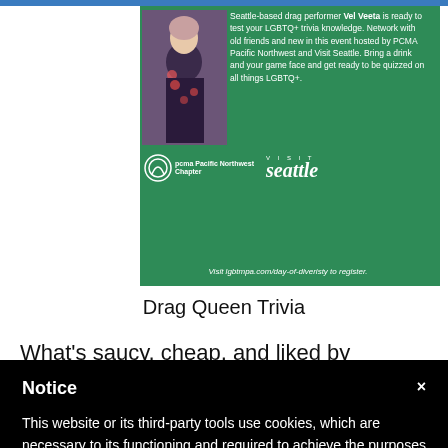[Figure (photo): Green promotional banner for PCMA Pacific Northwest and Visit Seattle event featuring a drag performer, LGBTQ+ trivia text, PCMA logo, Visit Seattle logo, and registration URL lgbtmpa.com/day-of-diveristy]
Drag Queen Trivia
What's saucy, cheap, and liked by everyone? Well, Vel
Notice
This website or its third-party tools use cookies, which are necessary to its functioning and required to achieve the purposes illustrated in the cookie policy. If you want to know more or withdraw your consent to all or some of the cookies, please refer to the cookie policy.
By closing this banner, scrolling this page, clicking a link or continuing to browse otherwise, you agree to the use of cookies.